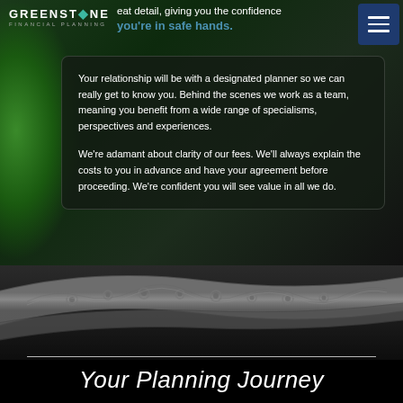[Figure (logo): Greenstone Financial Planning logo with gem icon]
eat detail, giving you the confidence you're in safe hands.
Your relationship will be with a designated planner so we can really get to know you. Behind the scenes we work as a team, meaning you benefit from a wide range of specialisms, perspectives and experiences.
We're adamant about clarity of our fees. We'll always explain the costs to you in advance and have your agreement before proceeding. We're confident you will see value in all we do.
[Figure (photo): Black and white close-up photograph of an ornate decorative curved band with floral and animal relief carvings]
Your Planning Journey